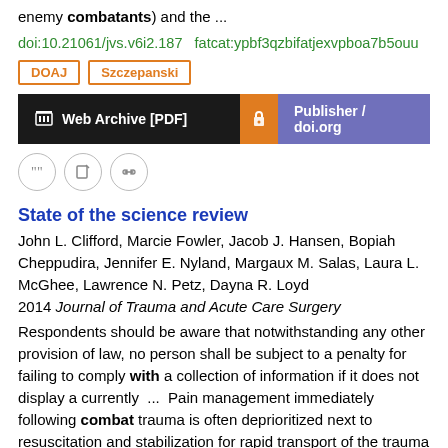enemy combatants) and the  ...
doi:10.21061/jvs.v6i2.187   fatcat:ypbf3qzbifatjexvpboa7b5ouu
DOAJ   Szczepanski
Web Archive [PDF]   Publisher / doi.org
State of the science review
John L. Clifford, Marcie Fowler, Jacob J. Hansen, Bopiah Cheppudira, Jennifer E. Nyland, Margaux M. Salas, Laura L. McGhee, Lawrence N. Petz, Dayna R. Loyd
2014 Journal of Trauma and Acute Care Surgery
Respondents should be aware that notwithstanding any other provision of law, no person shall be subject to a penalty for failing to comply with a collection of information if it does not display a currently  ...  Pain management immediately following combat trauma is often deprioritized next to resuscitation and stabilization for rapid transport of the trauma patient.  ...  In a cohort of 340 OIF/OEF veterans, 82% reported chronic pain, 68% were diagnosed with PTSD, and 67% were diagnosed with persistent postconcussive